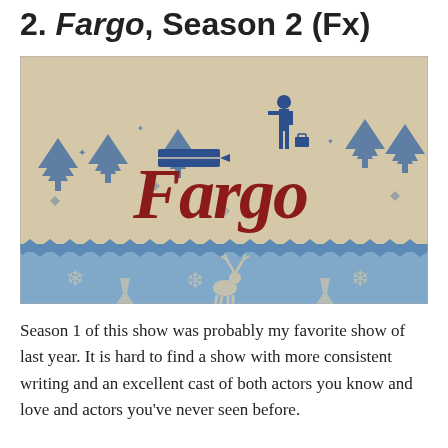2. Fargo, Season 2 (Fx)
[Figure (photo): Fargo TV show promotional image showing a sweater/knit-style design with blue pine trees, a figure with a briefcase, and the word 'Fargo' in red cursive lettering on a beige background, with a blue Nordic pattern border at the bottom featuring deer and snowflakes.]
Season 1 of this show was probably my favorite show of last year. It is hard to find a show with more consistent writing and an excellent cast of both actors you know and love and actors you've never seen before.